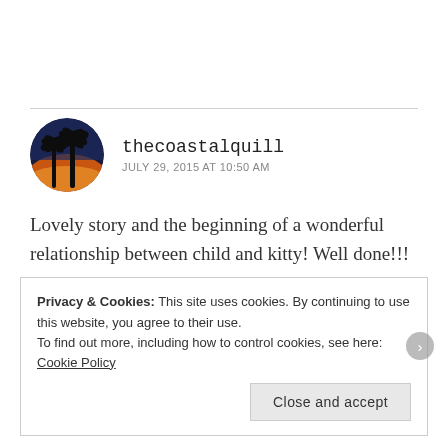[Figure (photo): Circular avatar image showing silhouettes of palm trees against a sunset/dusk sky with orange and blue hues]
thecoastalquill
JULY 29, 2015 AT 10:50 AM
Lovely story and the beginning of a wonderful relationship between child and kitty! Well done!!!
★ Like
Privacy & Cookies: This site uses cookies. By continuing to use this website, you agree to their use.
To find out more, including how to control cookies, see here: Cookie Policy
Close and accept